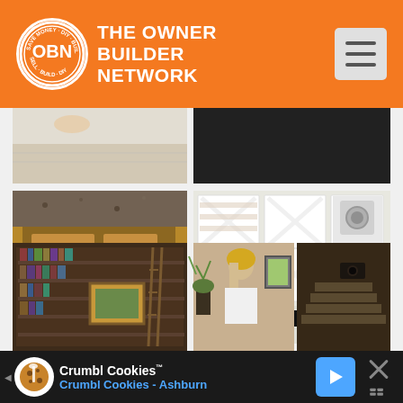[Figure (screenshot): The Owner Builder Network website header with orange background, circular OBN logo with white text, site name 'THE OWNER BUILDER NETWORK' in white, and hamburger menu icon on the right]
[Figure (photo): Grid of home improvement photos: partial top row with countertop/flooring and dark image, middle row with kitchen island with granite countertop and white farmhouse-style cabinet doors with X detail hiding laundry, bottom row with library/bookshelf secret door and woman opening hidden door panel]
[Figure (screenshot): Crumbl Cookies advertisement banner at bottom: dark background with cookie icon, 'Crumbl Cookies™' title in white, 'Crumbl Cookies - Ashburn' subtitle in blue, navigation arrow icon, and close button]